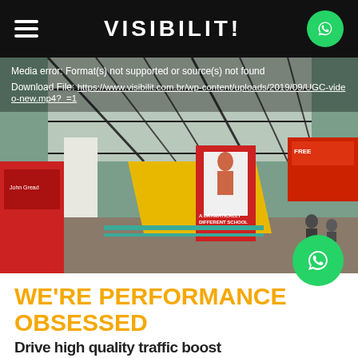VISIBILIT!
[Figure (screenshot): Media error overlay on a video player showing a shopping centre interior with glass roof, escalators, banners and retail stores. Error text: 'Media error: Format(s) not supported or source(s) not found'. Download link shown.]
Media error: Format(s) not supported or source(s) not found
Download File: https://www.visibilit.com.br/wp-content/uploads/2019/09/UGC-video-new.mp4?_=1
WE'RE PERFORMANCE OBSESSED
Drive high quality traffic boost